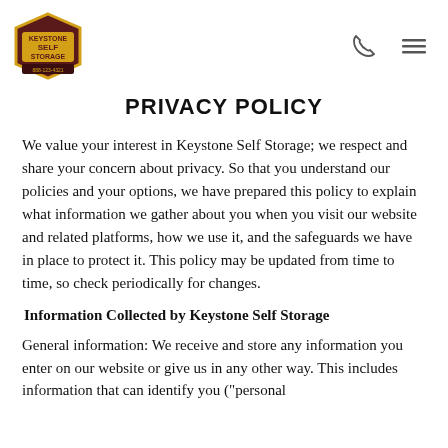[Figure (logo): Keystone Self Storage logo — brown/maroon pentagon shape with yellow text reading KEYSTONE SELF STORAGE INC and a phone number]
[Figure (other): Phone handset icon (outline) and hamburger menu icon (three horizontal lines) in the top right header area]
PRIVACY POLICY
We value your interest in Keystone Self Storage; we respect and share your concern about privacy. So that you understand our policies and your options, we have prepared this policy to explain what information we gather about you when you visit our website and related platforms, how we use it, and the safeguards we have in place to protect it. This policy may be updated from time to time, so check periodically for changes.
Information Collected by Keystone Self Storage
General information: We receive and store any information you enter on our website or give us in any other way. This includes information that can identify you ("personal